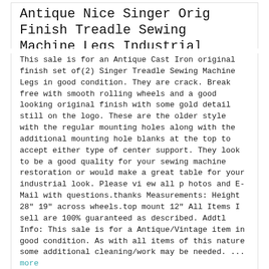Antique Nice Singer Orig Finish Treadle Sewing Machine Legs Industrial Table
This sale is for an Antique Cast Iron original finish set of(2) Singer Treadle Sewing Machine Legs in good condition. They are crack. Break free with smooth rolling wheels and a good looking original finish with some gold detail still on the logo. These are the older style with the regular mounting holes along with the additional mounting hole blanks at the top to accept either type of center support. They look to be a good quality for your sewing machine restoration or would make a great table for your industrial look. Please vi ew all p hotos and E-Mail with questions.thanks Measurements: Height 28" 19" across wheels.top mount 12" All Items I sell are 100% guaranteed as described. Addtl Info: This sale is for a Antique/Vintage item in good condition. As with all items of this nature some additional cleaning/work may be needed. ... more
PFAFF 463 Commercial / Industrial Sewing Machine Head only or pickup w/ table
Motor runs and engages good and runs the head. Belt tensioner that mounts to table is missing.EASY fix! It seems to be a working head,all is free and smoth when rolled over by hand. I picked this up at auction. Can ship just the head, Otherwise pickup only for the whole thing. ``d.RcmdId ViewItemDescV4,RlogId p4%60bo7%60jtb9%3Fvo%7B%3Dd70f%2B%3E%60%60d-13f55d69489-0x107-